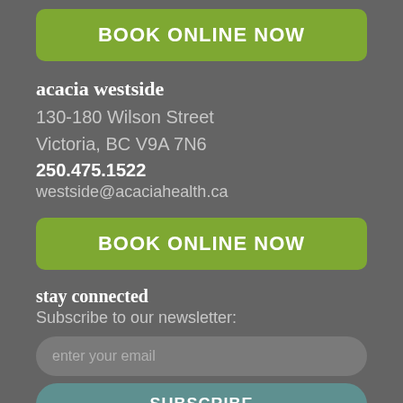[Figure (other): Green rounded button with white bold text reading BOOK ONLINE NOW]
acacia westside
130-180 Wilson Street
Victoria, BC V9A 7N6
250.475.1522
westside@acaciahealth.ca
[Figure (other): Green rounded button with white bold text reading BOOK ONLINE NOW]
stay connected
Subscribe to our newsletter:
[Figure (other): Input field with placeholder text 'enter your email']
[Figure (other): Teal rounded button with white bold text reading SUBSCRIBE]
intake & consent forms